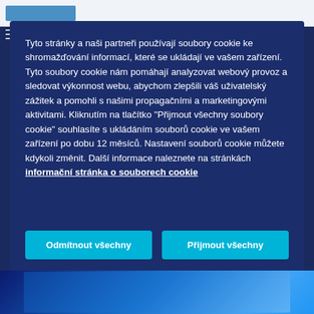[Figure (screenshot): Cookie consent modal dialog on a dark navy blue background. Contains descriptive text about cookie usage in Czech language, a link to 'informační stránka o souborech cookie', and two buttons: 'Odmítnout všechny' and 'Přijmout všechny'.]
Tyto stránky a naši partneři používají soubory cookie ke shromažďování informací, které se ukládají ve vašem zařízení. Tyto soubory cookie nám pomáhají analyzovat webový provoz a sledovat výkonnost webu, abychom zlepšili váš uživatelský zážitek a pomohli s našimi propagačními a marketingovými aktivitami. Kliknutím na tlačítko "Přijmout všechny soubory cookie" souhlasíte s ukládáním souborů cookie ve vašem zařízení po dobu 12 měsíců. Nastavení souborů cookie můžete kdykoli změnit. Další informace naleznete na stránkách informační stránka o souborech cookie